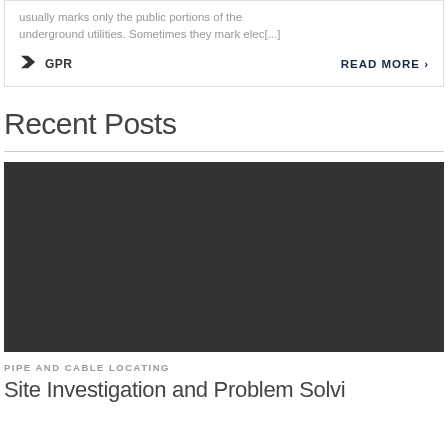usually marks only the public portions of the underground utilities. Sometimes they mark elec[...]
GPR
READ MORE >
Recent Posts
[Figure (photo): Dark background image placeholder for a blog post]
PIPE AND CABLE LOCATING
Site Investigation and Problem Solvi...